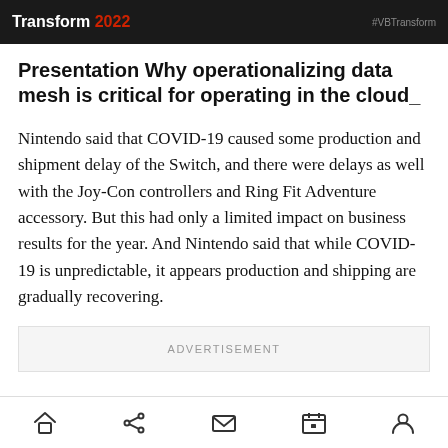Transform 2022   #VBTransform
Presentation Why operationalizing data mesh is critical for operating in the cloud_
Nintendo said that COVID-19 caused some production and shipment delay of the Switch, and there were delays as well with the Joy-Con controllers and Ring Fit Adventure accessory. But this had only a limited impact on business results for the year. And Nintendo said that while COVID-19 is unpredictable, it appears production and shipping are gradually recovering.
ADVERTISEMENT
Navigation bar: home, share, mail, calendar, profile